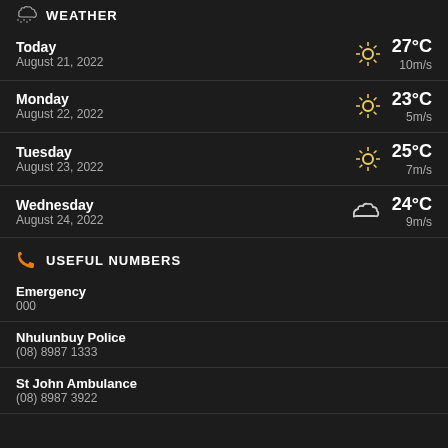WEATHER
Today, August 21, 2022 — 27°C, 10m/s
Monday, August 22, 2022 — 23°C, 5m/s
Tuesday, August 23, 2022 — 25°C, 7m/s
Wednesday, August 24, 2022 — 24°C, 9m/s
USEFUL NUMBERS
Emergency
000
Nhulunbuy Police
(08) 8987 1333
St John Ambulance
(08) 8987 3922